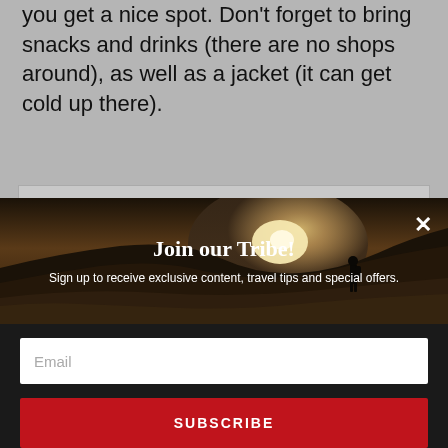you get a nice spot. Don't forget to bring snacks and drinks (there are no shops around), as well as a jacket (it can get cold up there).
[Figure (photo): Gray placeholder box representing an image area on the article page]
[Figure (illustration): Modal popup overlay with a scenic outdoor/mountain image background, featuring a person silhouetted against bright sunlight on a hillside]
Join our Tribe!
Sign up to receive exclusive content, travel tips and special offers.
Email
SUBSCRIBE